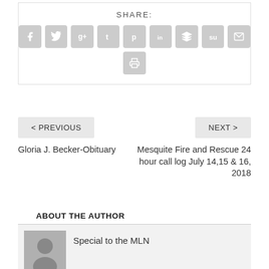[Figure (infographic): Social sharing buttons section with label SHARE: and 9 social media icon buttons (Facebook, Twitter, Google+, Tumblr, Pinterest, LinkedIn, Buffer, StumbleUpon, Email) in one row, and a print button in a second row]
< PREVIOUS
NEXT >
Gloria J. Becker-Obituary
Mesquite Fire and Rescue 24 hour call log July 14,15 & 16, 2018
ABOUT THE AUTHOR
Special to the MLN